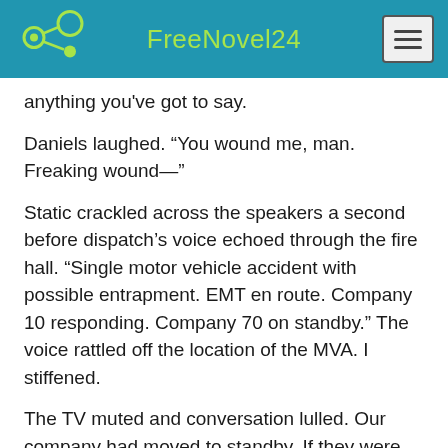FreeNovel24
anything you've got to say.
Daniels laughed. “You wound me, man. Freaking wound—”
Static crackled across the speakers a second before dispatch’s voice echoed through the fire hall. “Single motor vehicle accident with possible entrapment. EMT en route. Company 10 responding. Company 70 on standby.” The voice rattled off the location of the MVA. I stiffened.
The TV muted and conversation lulled. Our company had moved to standby. If they were